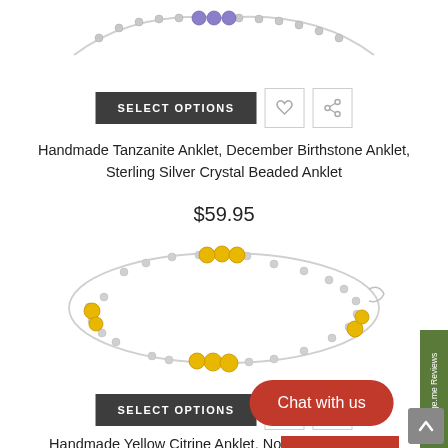[Figure (photo): Tanzanite anklet with purple/blue crystal beads and sterling silver beads, shown as a partial view at top of page]
[Figure (other): SELECT OPTIONS button with heart and share icon buttons]
Handmade Tanzanite Anklet, December Birthstone Anklet, Sterling Silver Crystal Beaded Anklet
$59.95
[Figure (photo): Yellow citrine anklet with golden yellow crystal beads and sterling silver beads on white background]
[Figure (other): SELECT OPTIONS button with heart and icon buttons]
Handmade Yellow Citrine Anklet, November Birthstone Anklet, Sterling Silver Crystal Beaded Anklet
$59.95